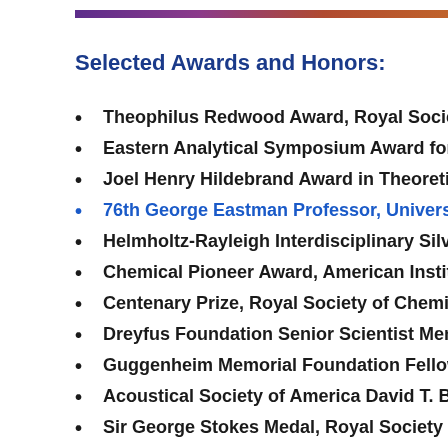Selected Awards and Honors:
Theophilus Redwood Award, Royal Society
Eastern Analytical Symposium Award for Ou
Joel Henry Hildebrand Award in Theoretical
76th George Eastman Professor, University
Helmholtz-Rayleigh Interdisciplinary Silver M
Chemical Pioneer Award, American Institute
Centenary Prize, Royal Society of Chemistry
Dreyfus Foundation Senior Scientist Mentor
Guggenheim Memorial Foundation Fellowsh
Acoustical Society of America David T. Blac
Sir George Stokes Medal, Royal Society of C
Senior Cope Scholar Award, American Chem
Wolfgang Göpel Award, Intl. Soc. on Olfactio
Nobel Laureate Signature Award for Gradua